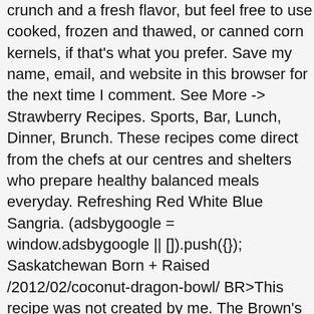crunch and a fresh flavor, but feel free to use cooked, frozen and thawed, or canned corn kernels, if that's what you prefer. Save my name, email, and website in this browser for the next time I comment. See More -> Strawberry Recipes. Sports, Bar, Lunch, Dinner, Brunch. These recipes come direct from the chefs at our centres and shelters who prepare healthy balanced meals everyday. Refreshing Red White Blue Sangria. (adsbygoogle = window.adsbygoogle || []).push({}); Saskatchewan Born + Raised /2012/02/coconut-dragon-bowl/ BR>This recipe was not created by me. The Brown's Dragon Bowl is my most fav restaurant meal of all time in the history of ever. Toss them in the olive oil and salt and spread out on a cookie sheet. This looks wonderful! Chloe Browne. Drinks wise we always get the Bellini and the Social Soda… If you have one, please share! I always mean to take a stab at some of my own local favourites, but it usually gets pushed to the back burner. And because your whole dinner is in the bowl, there's no need to make a separate side dish. Blend well. Dragon bowl meal prep. See More -> Soup